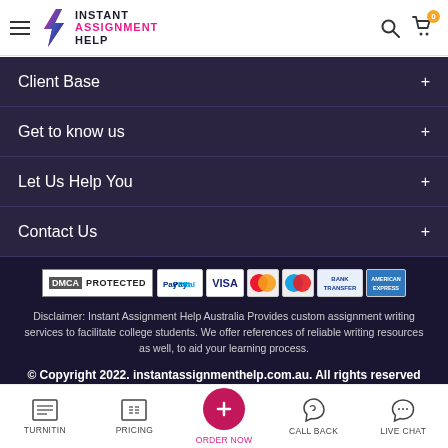[Figure (logo): Instant Assignment Help logo with lightning bolt icon]
Client Base +
Get to know us +
Let Us Help You +
Contact Us +
[Figure (infographic): DMCA Protected badge and payment icons: PayPal, VISA, Mastercard, Maestro, Bank Transfer, American Express]
Disclaimer: Instant Assignment Help Australia Provides custom assignment writing services to facilitate college students. We offer references of reliable writing resources as well, to aid your learning process.
© Copyright 2022. instantassignmenthelp.com.au. All rights reserved
Assignment Help Rated 4.9/5 based on 2706 Reviews
[Figure (infographic): Bottom navigation bar with icons: TURNITIN, PRICING, ORDER NOW (pink circle with plus), CALL BACK, LIVE CHAT]